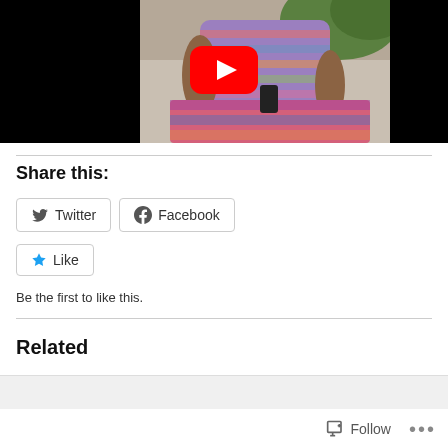[Figure (screenshot): YouTube video thumbnail showing a person sitting outdoors on a patterned blanket wearing a floral/patterned sleeveless dress, with garden background. YouTube play button overlay in center.]
Share this:
Twitter  Facebook
Like  Be the first to like this.
Related
[Figure (screenshot): Partial related content area at bottom of page, with Follow button and ellipsis menu.]